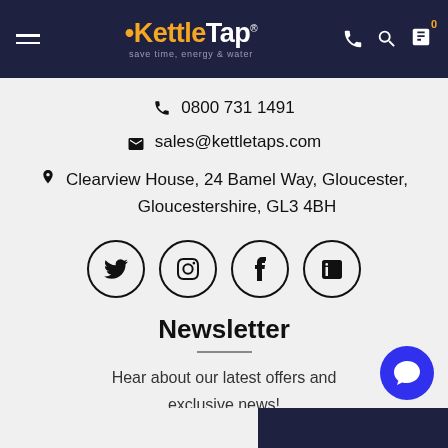KettleTap - save time, energy & water
0800 731 1491
sales@kettletaps.com
Clearview House, 24 Bamel Way, Gloucester, Gloucestershire, GL3 4BH
[Figure (other): Social media icons: Twitter, Instagram, Facebook, LinkedIn in circular outlines]
Newsletter
Hear about our latest offers and exclusive news!